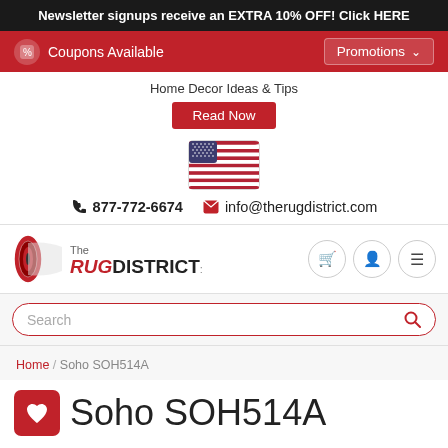Newsletter signups receive an EXTRA 10% OFF! Click HERE
Coupons Available   Promotions
Home Decor Ideas & Tips
Read Now
[Figure (illustration): US flag icon]
877-772-6674   info@therugdistrict.com
[Figure (logo): The Rug District logo with rolled rug icon]
Search
Home / Soho SOH514A
Soho SOH514A